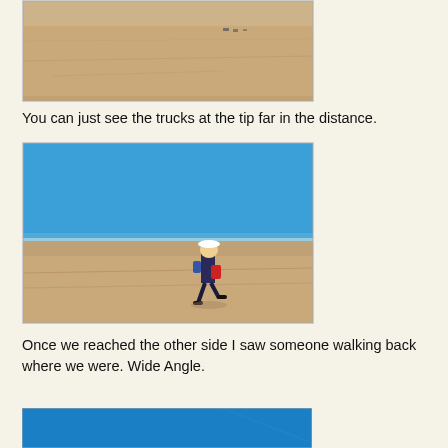[Figure (photo): A sandy flat desert or dry lake bed, pale tan color with tire tracks visible. Trucks can be seen far in the distance at the tip of a sandy peninsula or flat area.]
You can just see the trucks at the tip far in the distance.
[Figure (photo): A person wearing a white hat and dark clothing walks across a wide sandy flat beach or dry lake bed. The sky is bright blue and clear. The person carries bags and casts a shadow.]
Once we reached the other side I saw someone walking back where we were. Wide Angle.
[Figure (photo): Partial view of a photo showing a bright blue sky, cropped at the bottom of the page.]